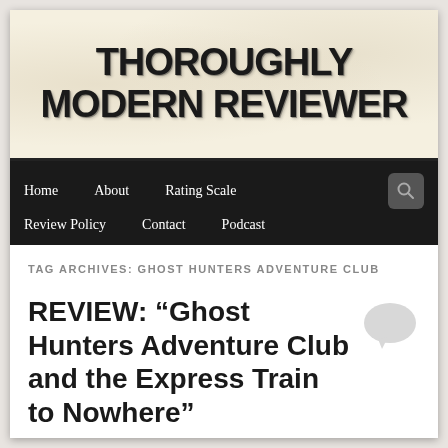THOROUGHLY MODERN REVIEWER
Home  About  Rating Scale  Review Policy  Contact  Podcast
TAG ARCHIVES: GHOST HUNTERS ADVENTURE CLUB
REVIEW: “Ghost Hunters Adventure Club and the Express Train to Nowhere”